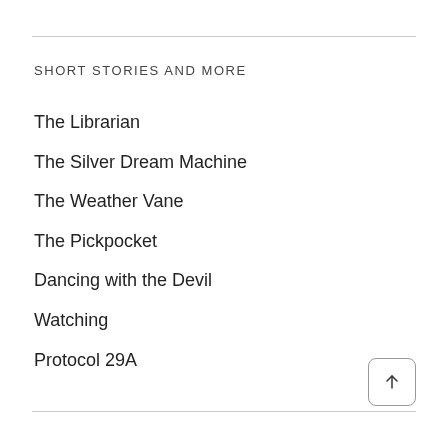SHORT STORIES AND MORE
The Librarian
The Silver Dream Machine
The Weather Vane
The Pickpocket
Dancing with the Devil
Watching
Protocol 29A